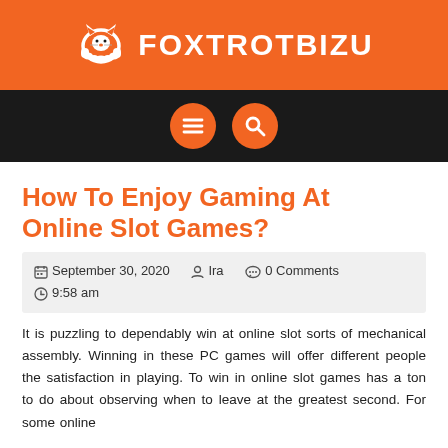[Figure (logo): FOXTROTBIZU logo with fox icon on orange background header bar]
[Figure (infographic): Dark navigation bar with two orange circular buttons: a hamburger menu icon and a search/magnifier icon]
How To Enjoy Gaming At Online Slot Games?
September 30, 2020   Ira   0 Comments   9:58 am
It is puzzling to dependably win at online slot sorts of mechanical assembly. Winning in these PC games will offer different people the satisfaction in playing. To win in online slot games has a ton to do about observing when to leave at the greatest second. For some online